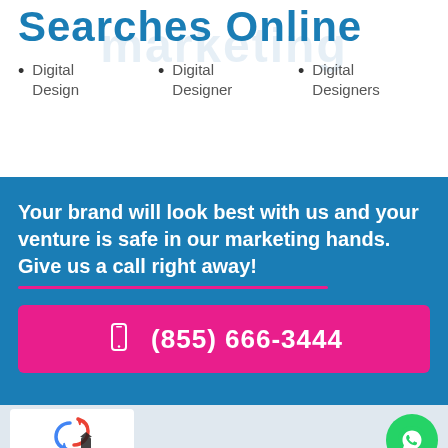Searches Online
Digital Design
Digital Designer
Digital Designers
Your brand will look best with us and your venture is safe in our marketing hands. Give us a call right away!
(855) 666-3444
Privacy · Terms